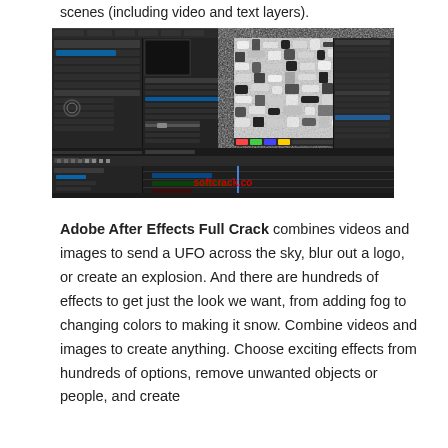scenes (including video and text layers).
[Figure (screenshot): Adobe After Effects interface showing a dark UI with panels, timeline, and a large black-and-white noise/turbulence texture preview in the center. A watermark 'softcrack.co' in red is visible in the lower timeline area.]
Adobe After Effects Full Crack combines videos and images to send a UFO across the sky, blur out a logo, or create an explosion. And there are hundreds of effects to get just the look we want, from adding fog to changing colors to making it snow. Combine videos and images to create anything. Choose exciting effects from hundreds of options, remove unwanted objects or people, and create